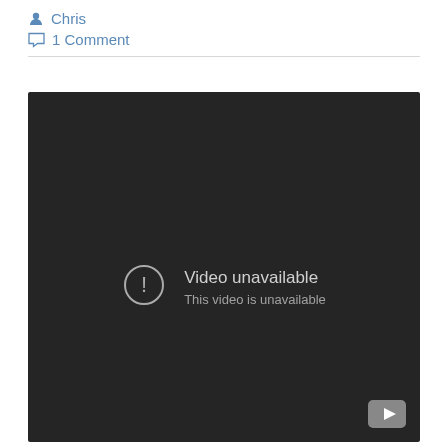Chris
1 Comment
[Figure (screenshot): Embedded video player showing 'Video unavailable — This video is unavailable' error message on dark background with YouTube play button icon in lower right.]